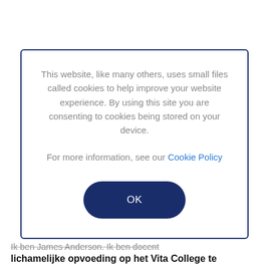This website, like many others, uses small files called cookies to help improve your website experience. By using this site you are consenting to cookies being stored on your device.
For more information, see our Cookie Policy
OK
Ik ben James Anderson. Ik ben docent lichamelijke opvoeding op het Vita College te